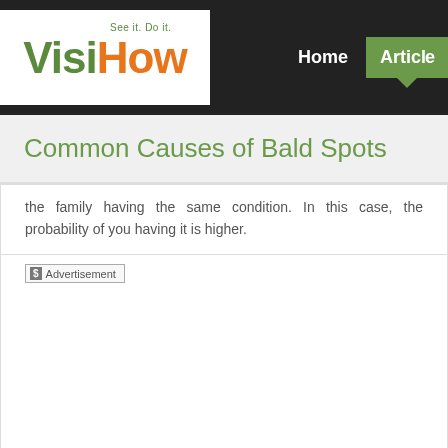[Figure (logo): VisiHow logo with tagline 'See it. Do it.' in green and orange colors]
Home  Articles
Common Causes of Bald Spots
the family having the same condition. In this case, the probability of you having it is higher.
[Figure (other): Advertisement placeholder box with dollar-sign label]
2. Diet.
If your diet is overall not healthy, it poses a greater ri